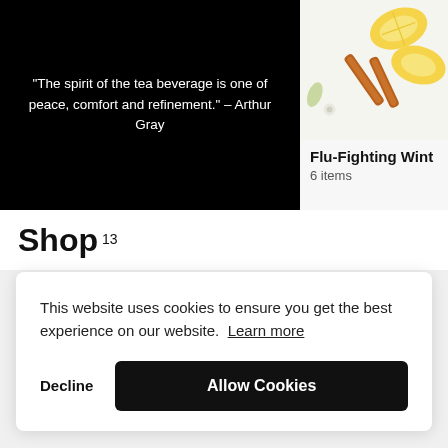[Figure (illustration): Quote card with black background and white italic text: "The spirit of the tea beverage is one of peace, comfort and refinement." – Arthur Gray]
[Figure (photo): Right side card showing citrus slices and cinnamon sticks on a white background, partially visible. Title: Flu-Fighting Wint, 6 items]
Shop 13
This website uses cookies to ensure you get the best experience on our website. Learn more
Decline
Allow Cookies